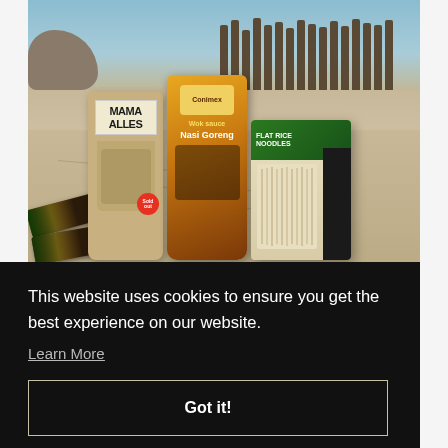[Figure (photo): Outdoor photo showing Asian food products laid out on stone pavement: a Mama Alles branded bag with mixed nuts/trail mix, a Conimex Nasi Goreng spice packet, a pack of flat rice noodles with green and black packaging, and some dark snack bars in the foreground left. Background shows rocky coastline and wooden fence/railing.]
This website uses cookies to ensure you get the best experience on our website.
Learn More
Got it!
SHARE